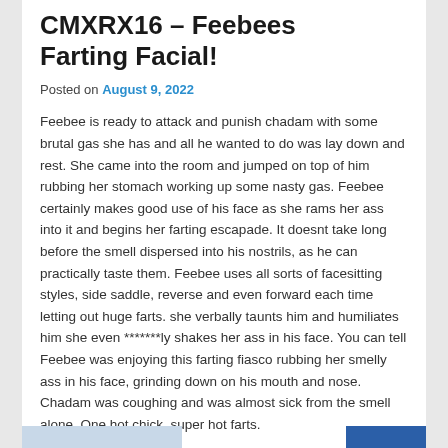CMXRX16 – Feebees Farting Facial!
Posted on August 9, 2022
Feebee is ready to attack and punish chadam with some brutal gas she has and all he wanted to do was lay down and rest. She came into the room and jumped on top of him rubbing her stomach working up some nasty gas. Feebee certainly makes good use of his face as she rams her ass into it and begins her farting escapade. It doesnt take long before the smell dispersed into his nostrils, as he can practically taste them. Feebee uses all sorts of facesitting styles, side saddle, reverse and even forward each time letting out huge farts. she verbally taunts him and humiliates him she even *******ly shakes her ass in his face. You can tell Feebee was enjoying this farting fiasco rubbing her smelly ass in his face, grinding down on his mouth and nose. Chadam was coughing and was almost sick from the smell alone. One hot chick, super hot farts.